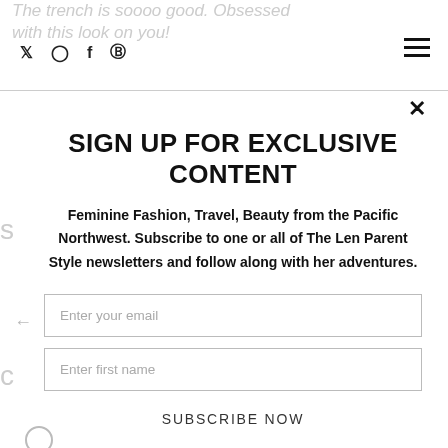The trench is soooo good. Obsessed with this look on you!
Social icons: twitter, instagram, facebook, pinterest | hamburger menu | close button
SIGN UP FOR EXCLUSIVE CONTENT
Feminine Fashion, Travel, Beauty from the Pacific Northwest. Subscribe to one or all of The Len Parent Style newsletters and follow along with her adventures.
Enter your email
Enter first name
SUBSCRIBE NOW